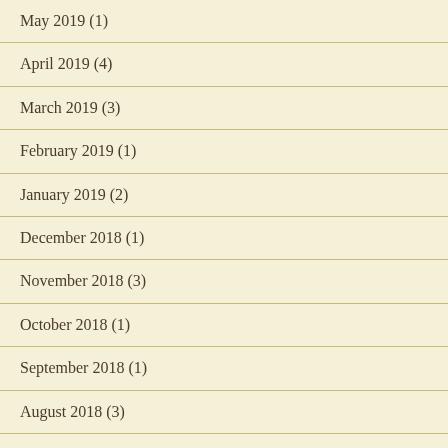May 2019 (1)
April 2019 (4)
March 2019 (3)
February 2019 (1)
January 2019 (2)
December 2018 (1)
November 2018 (3)
October 2018 (1)
September 2018 (1)
August 2018 (3)
July 2018 (2)
May 2018 (1)
March 2018 (1)